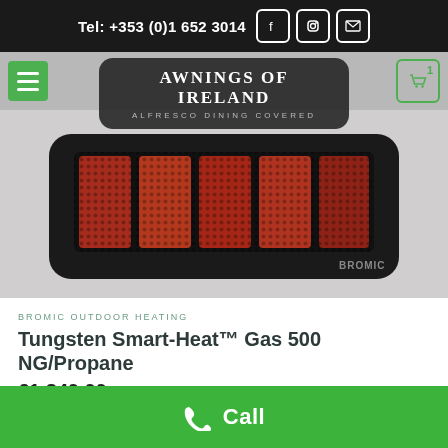Tel: +353 (0)1 652 3014
[Figure (logo): Awnings of Ireland logo — AWNINGS OF IRELAND, ALFRESCO DINING COVERED]
[Figure (photo): Bromic Tungsten Smart-Heat Gas 500 NG/Propane outdoor heater, black unit with glowing red heating elements, Bromic branding visible]
BROMIC OUTDOOR HEATING
Tungsten Smart-Heat™ Gas 500 NG/Propane
€1,849.99 incl. vat @ 23%
ADD TO BASKET
Call